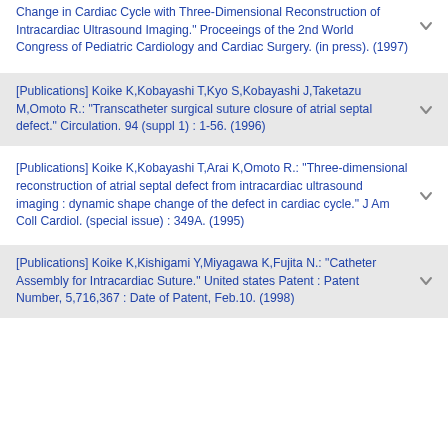Change in Cardiac Cycle with Three-Dimensional Reconstruction of Intracardiac Ultrasound Imaging." Proceeings of the 2nd World Congress of Pediatric Cardiology and Cardiac Surgery. (in press). (1997)
[Publications] Koike K,Kobayashi T,Kyo S,Kobayashi J,Taketazu M,Omoto R.: "Transcatheter surgical suture closure of atrial septal defect." Circulation. 94 (suppl 1) : 1-56. (1996)
[Publications] Koike K,Kobayashi T,Arai K,Omoto R.: "Three-dimensional reconstruction of atrial septal defect from intracardiac ultrasound imaging : dynamic shape change of the defect in cardiac cycle." J Am Coll Cardiol. (special issue) : 349A. (1995)
[Publications] Koike K,Kishigami Y,Miyagawa K,Fujita N.: "Catheter Assembly for Intracardiac Suture." United states Patent : Patent Number, 5,716,367 : Date of Patent, Feb.10. (1998)